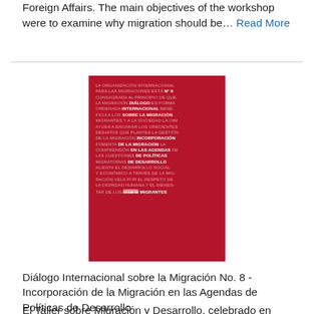Foreign Affairs. The main objectives of the workshop were to examine why migration should be… Read More
[Figure (illustration): Red book cover for 'Diálogo Internacional sobre la Migración No. 8 - Incorporación de la Migración en las Agendas de Políticas de Desarrollo', published by IOM. The cover features white and semi-transparent text in Spanish on a red background.]
Diálogo Internacional sobre la Migración No. 8 - Incorporación de la Migración en las Agendas de Políticas de Desarrollo
El Taller sobre Migración y Desarrollo, celebrado en